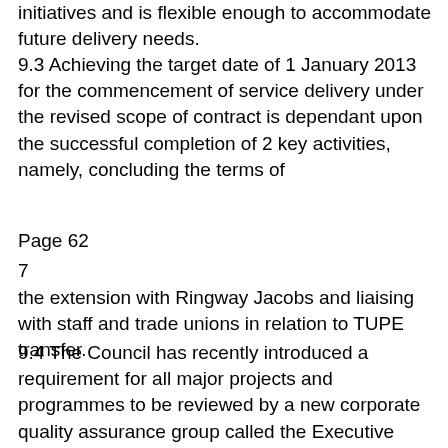initiatives and is flexible enough to accommodate future delivery needs.
9.3 Achieving the target date of 1 January 2013 for the commencement of service delivery under the revised scope of contract is dependant upon the successful completion of 2 key activities, namely, concluding the terms of
Page 62
7
the extension with Ringway Jacobs and liaising with staff and trade unions in relation to TUPE transfer.
9.4 The Council has recently introduced a requirement for all major projects and programmes to be reviewed by a new corporate quality assurance group called the Executive Monitoring Board (EMB) before they can proceed. Major projects and programmes are defined where there is a total